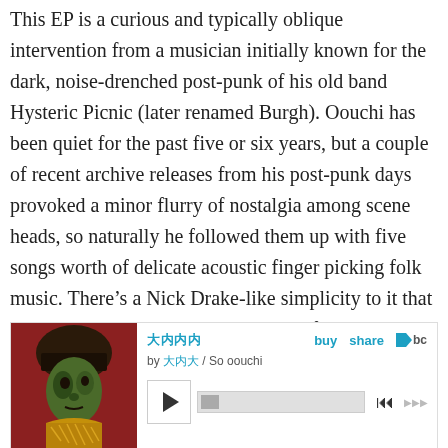This EP is a curious and typically oblique intervention from a musician initially known for the dark, noise-drenched post-punk of his old band Hysteric Picnic (later renamed Burgh). Oouchi has been quiet for the past five or six years, but a couple of recent archive releases from his post-punk days provoked a minor flurry of nostalgia among scene heads, so naturally he followed them up with five songs worth of delicate acoustic finger picking folk music. There’s a Nick Drake-like simplicity to it that belies the ways the songs skirt clear of Japanese singer-songwriter clichés, not only in the melodies but also in Oouchi’s fragile baritone vocals.
[Figure (other): Embedded music player widget showing album art (portrait painting with dark background, figure with black hat, greenish face tones), track title in Japanese characters, artist name in Japanese / So oouchi, buy and share links, bandcamp logo, play button, progress bar, and skip controls.]